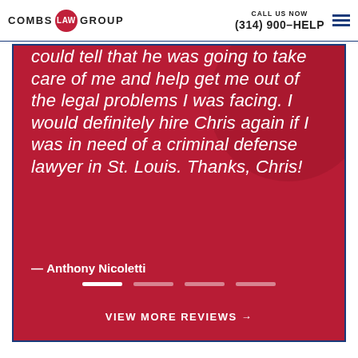COMBS LAW GROUP | CALL US NOW | (314) 900-HELP
could tell that he was going to take care of me and help get me out of the legal problems I was facing. I would definitely hire Chris again if I was in need of a criminal defense lawyer in St. Louis. Thanks, Chris!
— Anthony Nicoletti
VIEW MORE REVIEWS →